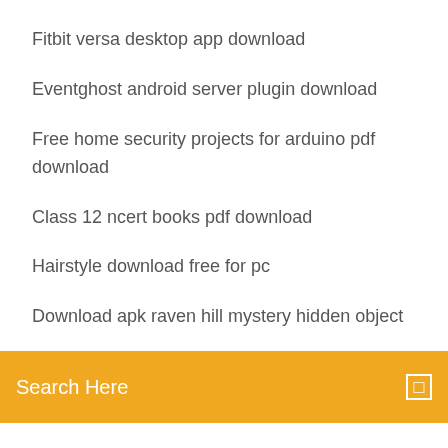Fitbit versa desktop app download
Eventghost android server plugin download
Free home security projects for arduino pdf download
Class 12 ncert books pdf download
Hairstyle download free for pc
Download apk raven hill mystery hidden object
[Figure (screenshot): Orange search bar with text 'Search Here' and a small square icon on the right]
Modern day mod download
Download hp printer app on mac
Galaxy s3 download pictures to pc
How to download ios 11.3.1 from ipsw
Vb6 download file from url and save
Extreme download manager for pc
Jigglypuff minecraft skin download
Ark ragnarok pc download
Danganronpa killer killer pdf free download
Download line tv for pc